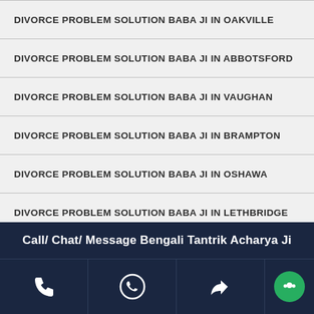DIVORCE PROBLEM SOLUTION BABA JI IN OAKVILLE
DIVORCE PROBLEM SOLUTION BABA JI IN ABBOTSFORD
DIVORCE PROBLEM SOLUTION BABA JI IN VAUGHAN
DIVORCE PROBLEM SOLUTION BABA JI IN BRAMPTON
DIVORCE PROBLEM SOLUTION BABA JI IN OSHAWA
DIVORCE PROBLEM SOLUTION BABA JI IN LETHBRIDGE
DIVORCE PROBLEM SOLUTION BABA JI IN BRANTFORD
DIVORCE PROBLEM SOLUTION BABA JI IN SHERBROOKE
DIVORCE PROBLEM SOLUTION BABA JI IN MARKHAM
DIVORCE PROBLEM SOLUTION BABA JI IN SURREY
Call/ Chat/ Message Bengali Tantrik Acharya Ji